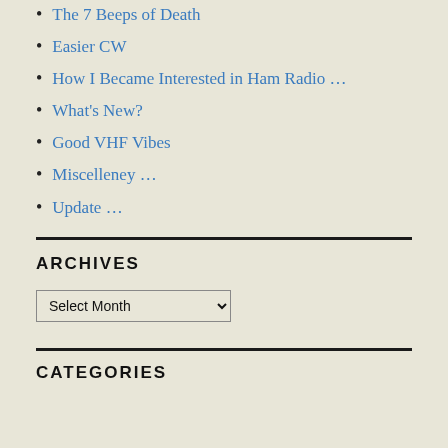The 7 Beeps of Death
Easier CW
How I Became Interested in Ham Radio …
What's New?
Good VHF Vibes
Miscelleney …
Update …
ARCHIVES
Select Month
CATEGORIES